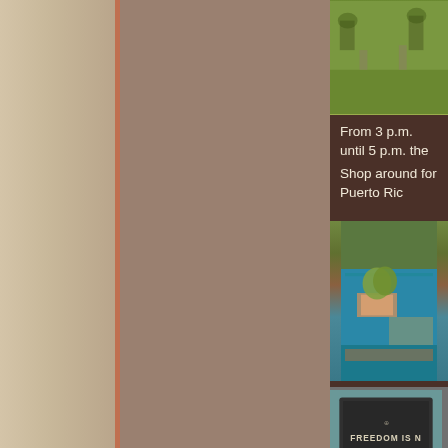[Figure (photo): Outdoor event scene with green grass and people in background]
From 3 p.m. until 5 p.m. the
Shop around for Puerto Ric
[Figure (photo): Man in green shirt sitting at a market vendor table with blue tablecloth, cigar boxes and tobacco leaves displayed]
[Figure (photo): Sign reading FREEDOM IS N with framed board on teal background]